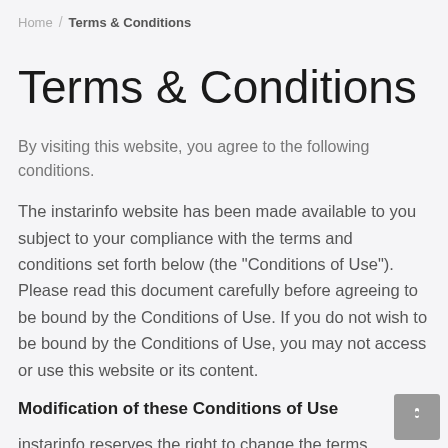Home / Terms & Conditions
Terms & Conditions
By visiting this website, you agree to the following conditions.
The instarinfo website has been made available to you subject to your compliance with the terms and conditions set forth below (the "Conditions of Use"). Please read this document carefully before agreeing to be bound by the Conditions of Use. If you do not wish to be bound by the Conditions of Use, you may not access or use this website or its content.
Modification of these Conditions of Use
instarinfo reserves the right to change the terms, conditions, and notices at any time, and such modifications shall be effective immediately upon posting of the modified terms, conditions and